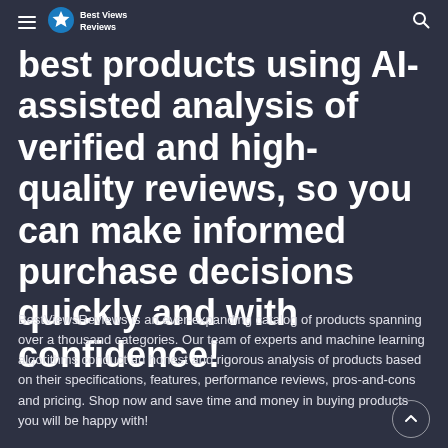Best Views Reviews
best products using AI-assisted analysis of verified and high-quality reviews, so you can make informed purchase decisions quickly and with confidence!
BestViewsReviews is an ever-expanding catalog of products spanning over a thousand categories. Our team of experts and machine learning algorithms conduct an honest and rigorous analysis of products based on their specifications, features, performance reviews, pros-and-cons and pricing. Shop now and save time and money in buying products you will be happy with!